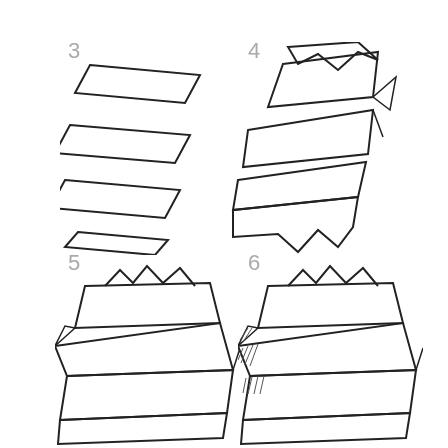[Figure (illustration): Step 3: Drawing tutorial showing a ribbon banner in progress - three separate parallelogram shapes stacked diagonally, representing the flat ribbon sections before folding]
[Figure (illustration): Step 4: Drawing tutorial showing a ribbon banner with an arrow tip at the top right, three connected ribbon sections with a forked tail at the bottom]
[Figure (illustration): Step 5: Drawing tutorial showing a ribbon banner with crown-like notch at top, two wide ribbon sections folding and overlapping, with a third section at bottom]
[Figure (illustration): Step 6: Drawing tutorial showing a completed ribbon banner with crown-like notch at top, shading added to the folded/tucked under portions of the ribbon]